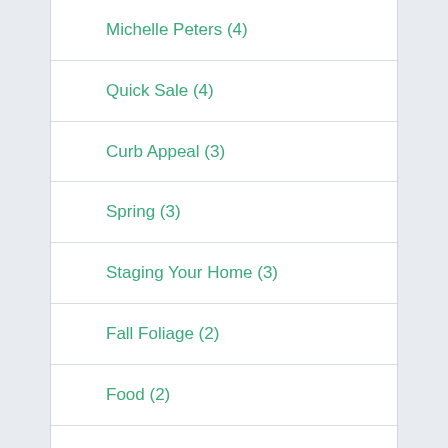Michelle Peters (4)
Quick Sale (4)
Curb Appeal (3)
Spring (3)
Staging Your Home (3)
Fall Foliage (2)
Food (2)
Investment Properties (2)